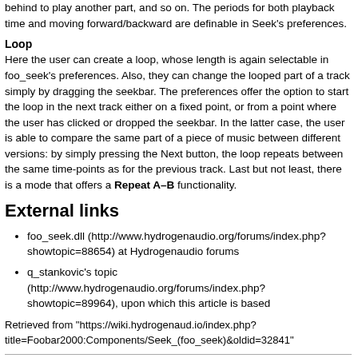behind to play another part, and so on. The periods for both playback time and moving forward/backward are definable in Seek's preferences.
Loop
Here the user can create a loop, whose length is again selectable in foo_seek's preferences. Also, they can change the looped part of a track simply by dragging the seekbar. The preferences offer the option to start the loop in the next track either on a fixed point, or from a point where the user has clicked or dropped the seekbar. In the latter case, the user is able to compare the same part of a piece of music between different versions: by simply pressing the Next button, the loop repeats between the same time-points as for the previous track. Last but not least, there is a mode that offers a Repeat A–B functionality.
External links
foo_seek.dll (http://www.hydrogenaudio.org/forums/index.php?showtopic=88654) at Hydrogenaudio forums
q_stankovic's topic (http://www.hydrogenaudio.org/forums/index.php?showtopic=89964), upon which this article is based
Retrieved from "https://wiki.hydrogenaud.io/index.php?title=Foobar2000:Components/Seek_(foo_seek)&oldid=32841"
This page was last modified on 11 June 2021, at 14:05.
This page has been accessed 19,777 times.